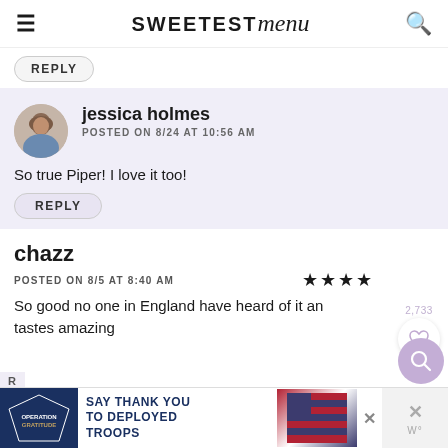SWEETEST menu
REPLY
jessica holmes
POSTED ON 8/24 AT 10:56 AM
So true Piper! I love it too!
REPLY
chazz
POSTED ON 8/5 AT 8:40 AM
So good no one in England have heard of it an... tastes amazing
[Figure (other): Operation Gratitude advertisement banner: SAY THANK YOU TO DEPLOYED TROOPS]